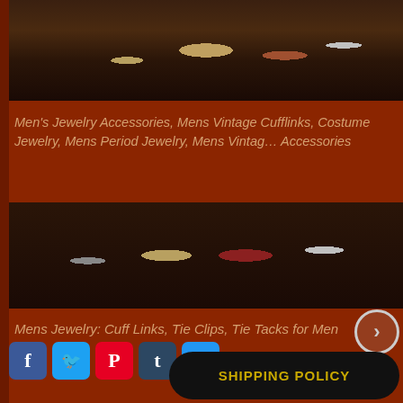[Figure (photo): Photo of men's jewelry accessories including cufflinks, tie clips, vintage items displayed on a dark surface]
Men's Jewelry Accessories, Mens Vintage Cufflinks, Costume Jewelry, Mens Period Jewelry, Mens Vintage Accessories
[Figure (photo): Close-up photo of cufflinks and tie accessories including gold, red gemstone, and silver cufflinks]
Mens Jewelry: Cuff Links, Tie Clips, Tie Tacks for Men
[Figure (infographic): Social media share buttons: Facebook, Twitter, Pinterest, Tumblr, Google+]
SHIPPING POLICY